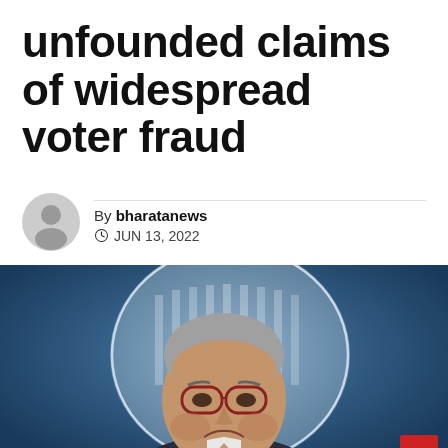unfounded claims of widespread voter fraud
By bharatanews
JUN 13, 2022
[Figure (photo): A man wearing glasses and a dark suit with a frowning expression, seated in front of a Department of Justice seal/emblem. Partial text 'DEPA' visible at bottom left.]